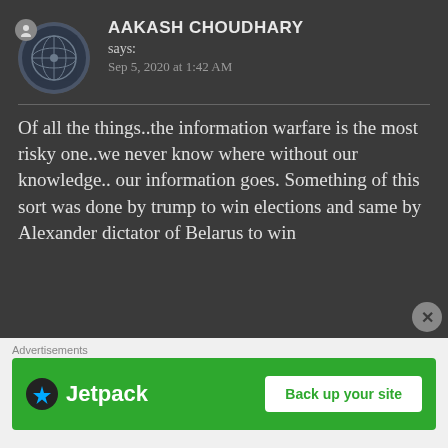AAKASH CHOUDHARY
says:
Sep 5, 2020 at 1:42 AM
Of all the things..the information warfare is the most risky one..we never know where without our knowledge.. our information goes. Something of this sort was done by trump to win elections and same by Alexander dictator of Belarus to win
Advertisements
[Figure (screenshot): Jetpack advertisement banner with green background, Jetpack logo on left and 'Back up your site' white button on right]